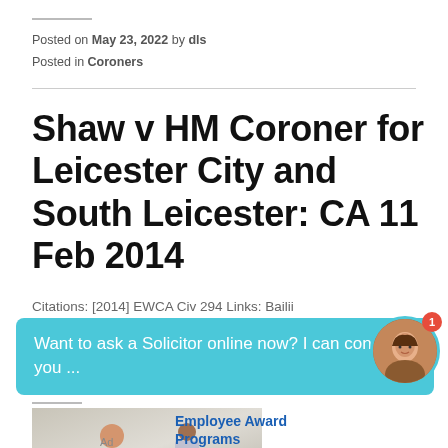Posted on May 23, 2022 by dls
Posted in Coroners
Shaw v HM Coroner for Leicester City and South Leicester: CA 11 Feb 2014
Citations: [2014] EWCA Civ 294 Links: Bailii
Want to ask a Solicitor online now? I can connect you ...
[Figure (photo): Advertisement image showing a woman at a desk with a gift bag, with a man in background. Ad text reads Employee Award Programs.]